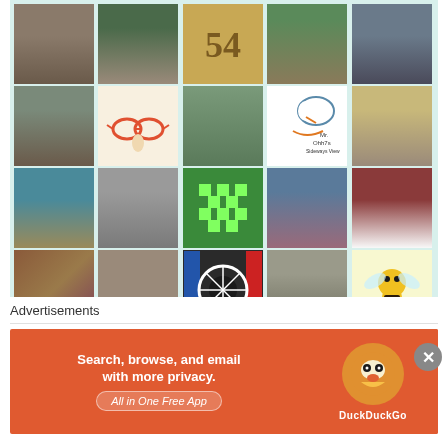[Figure (photo): A grid of social media profile thumbnails arranged in 5 columns and 7+ rows, showing various user profile photos including people, illustrations, animals, and logos on a light green background.]
Advertisements
[Figure (screenshot): DuckDuckGo advertisement banner with orange background. Text reads: Search, browse, and email with more privacy. All in One Free App. DuckDuckGo logo with duck icon on right side.]